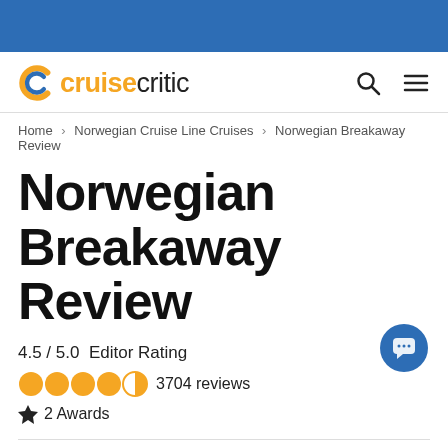[Figure (logo): Cruise Critic logo with orange C icon and text 'cruisecritic']
Home > Norwegian Cruise Line Cruises > Norwegian Breakaway Review
Norwegian Breakaway Review
4.5 / 5.0  Editor Rating
3704 reviews
2 Awards
Reviews v